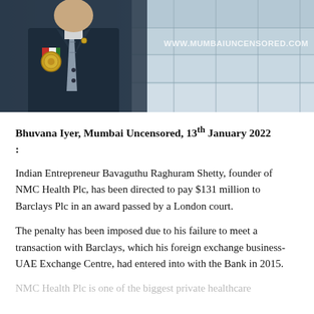[Figure (photo): Photo of a man in a dark suit with a military/official medal on his chest, standing in front of a glass building exterior. Watermark reads WWW.MUMBAIUNCENSORED.COM]
Bhuvana Iyer, Mumbai Uncensored, 13th January 2022 :
Indian Entrepreneur Bavaguthu Raghuram Shetty, founder of NMC Health Plc, has been directed to pay $131 million to Barclays Plc in an award passed by a London court.
The penalty has been imposed due to his failure to meet a transaction with Barclays, which his foreign exchange business- UAE Exchange Centre, had entered into with the Bank in 2015.
NMC Health Plc is one of the biggest private healthcare...